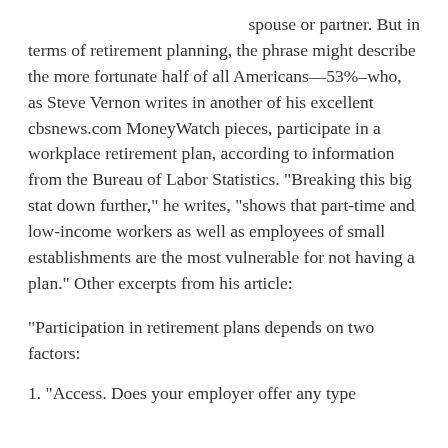spouse or partner. But in terms of retirement planning, the phrase might describe the more fortunate half of all Americans—53%–who, as Steve Vernon writes in another of his excellent cbsnews.com MoneyWatch pieces, participate in a workplace retirement plan, according to information from the Bureau of Labor Statistics. "Breaking this big stat down further," he writes, "shows that part-time and low-income workers as well as employees of small establishments are the most vulnerable for not having a plan." Other excerpts from his article:
"Participation in retirement plans depends on two factors:
1. "Access. Does your employer offer any type